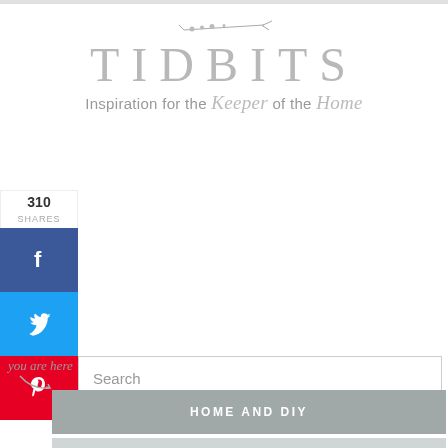[Figure (illustration): Tidbits blog logo with decorative floral/botanical sprig above the word TIDBITS in large light gray serif letters, with tagline: Inspiration for the Keeper of the Home]
310 SHARES
[Figure (illustration): Social sharing sidebar with Facebook, Twitter, and Pinterest buttons]
Search
MENU
you are here
HOME AND DIY
FOOD AND RECIPES